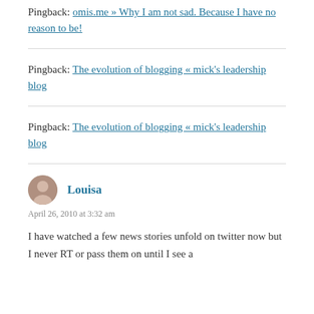Pingback: omis.me » Why I am not sad. Because I have no reason to be!
Pingback: The evolution of blogging « mick's leadership blog
Pingback: The evolution of blogging « mick's leadership blog
Louisa
April 26, 2010 at 3:32 am
I have watched a few news stories unfold on twitter now but I never RT or pass them on until I see a